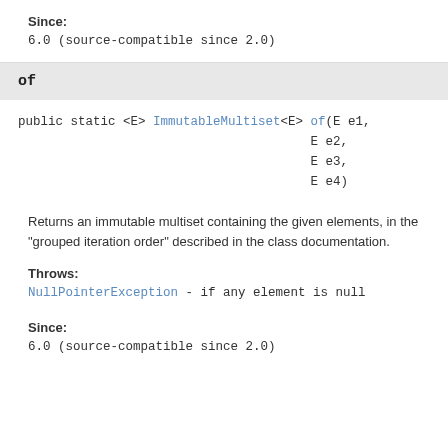Since:
6.0 (source-compatible since 2.0)
of
public static <E> ImmutableMultiset<E> of(E e1,
                                       E e2,
                                       E e3,
                                       E e4)
Returns an immutable multiset containing the given elements, in the "grouped iteration order" described in the class documentation.
Throws:
NullPointerException - if any element is null
Since:
6.0 (source-compatible since 2.0)